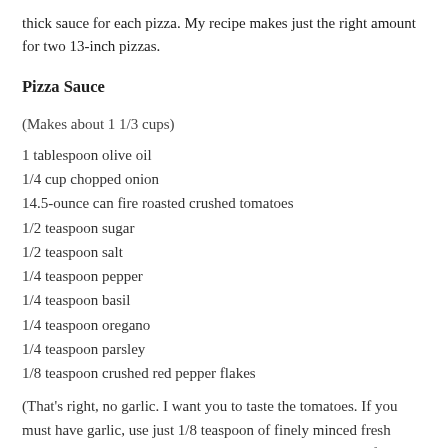thick sauce for each pizza. My recipe makes just the right amount for two 13-inch pizzas.
Pizza Sauce
(Makes about 1 1/3 cups)
1 tablespoon olive oil
1/4 cup chopped onion
14.5-ounce can fire roasted crushed tomatoes
1/2 teaspoon sugar
1/2 teaspoon salt
1/4 teaspoon pepper
1/4 teaspoon basil
1/4 teaspoon oregano
1/4 teaspoon parsley
1/8 teaspoon crushed red pepper flakes
(That's right, no garlic. I want you to taste the tomatoes. If you must have garlic, use just 1/8 teaspoon of finely minced fresh garlic. No garlic powder, no garlic salt, no chopped garlic from a jar. But do try it without garlic. I think